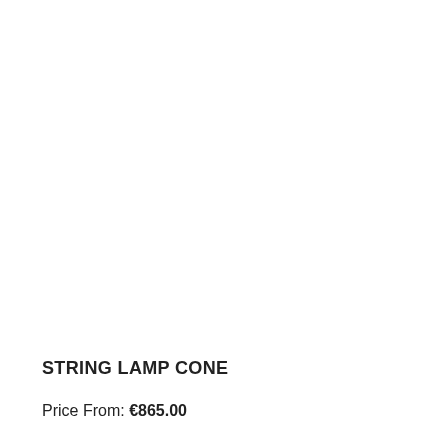STRING LAMP CONE
Price From: €865.00